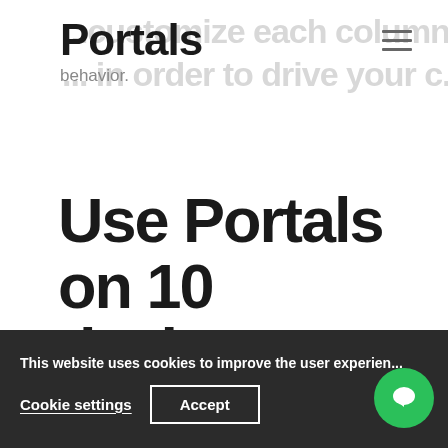Portals
behavior.
Use Portals on 10 devices
A single Portals subscription comes
This website uses cookies to improve the user experience
Cookie settings  Accept